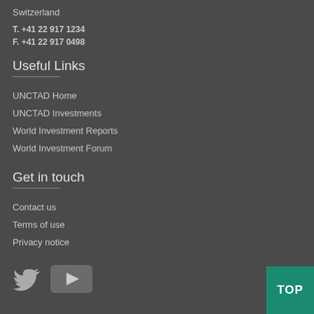Switzerland
T. +41 22 917 1234
F. +41 22 917 0498
Useful Links
UNCTAD Home
UNCTAD Investments
World Investment Reports
World Investment Forum
Get in touch
Contact us
Terms of use
Privacy notice
[Figure (illustration): Twitter bird icon and YouTube play button icon]
[Figure (illustration): TOP button — teal/green square with white text TOP]